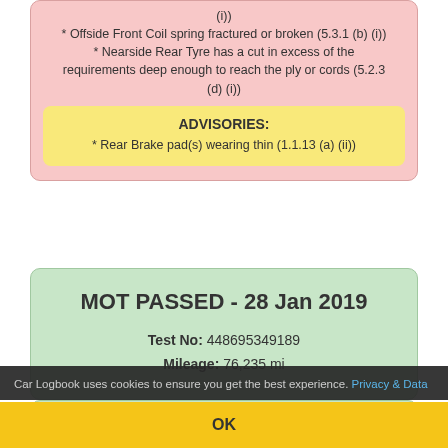(i))
* Offside Front Coil spring fractured or broken (5.3.1 (b) (i))
* Nearside Rear Tyre has a cut in excess of the requirements deep enough to reach the ply or cords (5.2.3 (d) (i))
ADVISORIES:
* Rear Brake pad(s) wearing thin (1.1.13 (a) (ii))
MOT PASSED - 28 Jan 2019
Test No: 448695349189
Mileage: 76,235 mi
Car Logbook uses cookies to ensure you get the best experience. Privacy & Data
OK